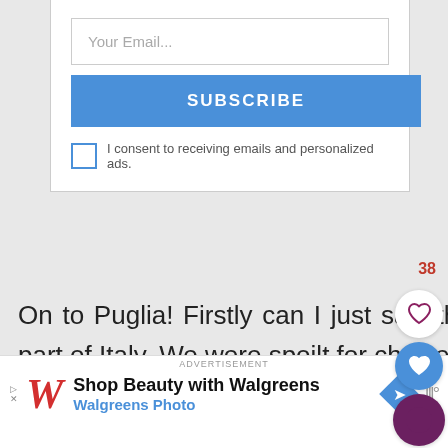[Figure (screenshot): Email subscription modal with 'Your Email...' input, blue SUBSCRIBE button, and consent checkbox]
On to Puglia! Firstly can I just say, there is much to do in this part of Italy. We were spoilt for choice and couldn't quite fit in all the things I (meaning me) had scribbled into our (meaning my) notepad.
[Figure (infographic): Social sharing sidebar with heart icon, blue heart bookmark icon, count badge showing 3, and share icon]
[Figure (screenshot): What's Next widget showing Chicken Pulao with food thumbnail]
[Figure (screenshot): Walgreens advertisement banner: Shop Beauty with Walgreens, Walgreens Photo]